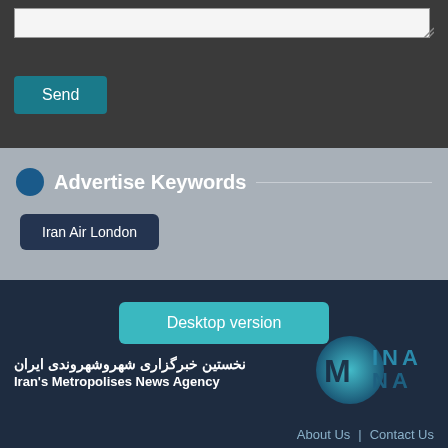[Figure (screenshot): Text area input box with resize handle at top of dark gray section]
Send
Advertise Keywords
Iran Air London
Desktop version
[Figure (logo): IMNA logo - Iran's Metropolises News Agency circular logo in teal and dark blue]
نخستین خبرگزاری شهروشهروندی ایران
Iran's Metropolises News Agency
About Us | Contact Us